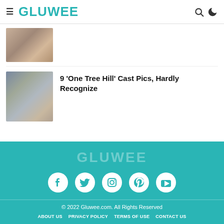GLUWEE
[Figure (photo): Thumbnail photo for article above (partially visible)]
[Figure (photo): Thumbnail photo of two people from One Tree Hill cast]
9 'One Tree Hill' Cast Pics, Hardly Recognize
[Figure (logo): GLUWEE footer logo in teal/transparent]
[Figure (infographic): Social media icons: Facebook, Twitter, Instagram, Pinterest, YouTube]
© 2022 Gluwee.com. All Rights Reserved
ABOUT US  PRIVACY POLICY  TERMS OF USE  CONTACT US